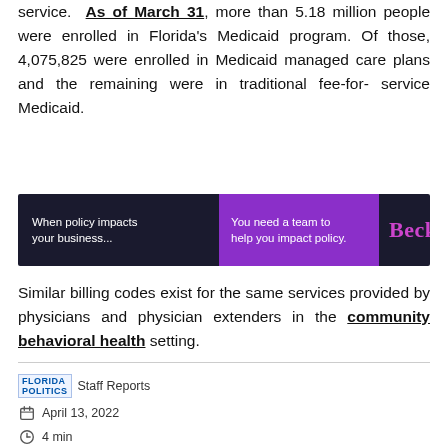service. As of March 31, more than 5.18 million people were enrolled in Florida's Medicaid program. Of those, 4,075,825 were enrolled in Medicaid managed care plans and the remaining were in traditional fee-for-service Medicaid.
[Figure (other): Advertisement banner for Becker with three panels: dark navy left panel reading 'When policy impacts your business...', purple middle panel reading 'You need a team to help you impact policy.', and dark navy right panel with 'Becker' in purple text.]
Similar billing codes exist for the same services provided by physicians and physician extenders in the community behavioral health setting.
Staff Reports
April 13, 2022
4 min